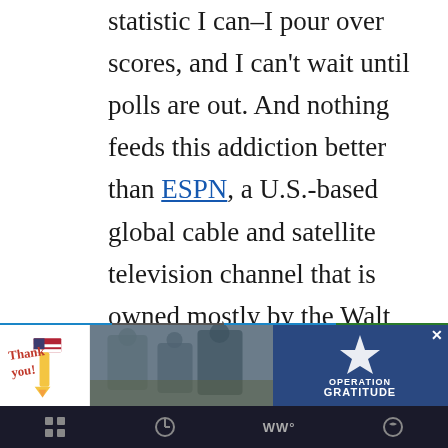statistic I can–I pour over scores, and I can't wait until polls are out. And nothing feeds this addiction better than ESPN, a U.S.-based global cable and satellite television channel that is owned mostly by the Walt Disney Company, with the Hearst Corporation as a minority owner.
I first got ESPN on my cable system was in the late 1980's. This was
[Figure (other): Advertisement banner: 'Thank you' handwritten text with American flag pencil on left, military photo in center, Operation Gratitude logo on right with blue background and star]